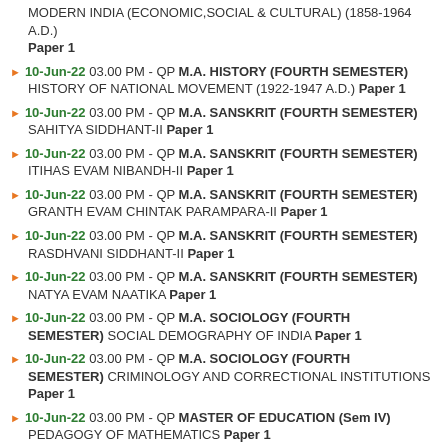MODERN INDIA (ECONOMIC,SOCIAL & CULTURAL) (1858-1964 A.D.) Paper 1
10-Jun-22 03.00 PM - QP M.A. HISTORY (FOURTH SEMESTER) HISTORY OF NATIONAL MOVEMENT (1922-1947 A.D.) Paper 1
10-Jun-22 03.00 PM - QP M.A. SANSKRIT (FOURTH SEMESTER) SAHITYA SIDDHANT-II Paper 1
10-Jun-22 03.00 PM - QP M.A. SANSKRIT (FOURTH SEMESTER) ITIHAS EVAM NIBANDH-II Paper 1
10-Jun-22 03.00 PM - QP M.A. SANSKRIT (FOURTH SEMESTER) GRANTH EVAM CHINTAK PARAMPARA-II Paper 1
10-Jun-22 03.00 PM - QP M.A. SANSKRIT (FOURTH SEMESTER) RASDHVANI SIDDHANT-II Paper 1
10-Jun-22 03.00 PM - QP M.A. SANSKRIT (FOURTH SEMESTER) NATYA EVAM NAATIKA Paper 1
10-Jun-22 03.00 PM - QP M.A. SOCIOLOGY (FOURTH SEMESTER) SOCIAL DEMOGRAPHY OF INDIA Paper 1
10-Jun-22 03.00 PM - QP M.A. SOCIOLOGY (FOURTH SEMESTER) CRIMINOLOGY AND CORRECTIONAL INSTITUTIONS Paper 1
10-Jun-22 03.00 PM - QP MASTER OF EDUCATION (Sem IV) PEDAGOGY OF MATHEMATICS Paper 1
10-Jun-22 03.00 PM - QP MASTER OF EDUCATION (Sem IV)